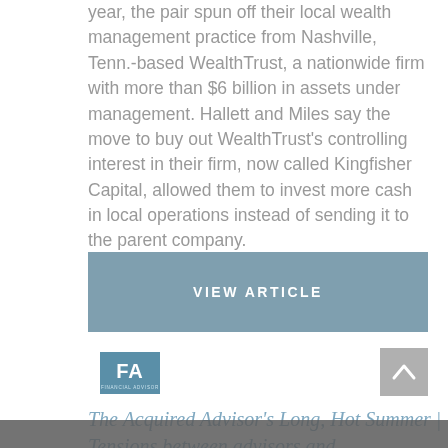year, the pair spun off their local wealth management practice from Nashville, Tenn.-based WealthTrust, a nationwide firm with more than $6 billion in assets under management. Hallett and Miles say the move to buy out WealthTrust's controlling interest in their firm, now called Kingfisher Capital, allowed them to invest more cash in local operations instead of sending it to the parent company.
VIEW ARTICLE
[Figure (logo): Financial Advisor (FA) magazine logo — blue box with FA letters and 'FINANCIAL ADVISOR' text below]
[Figure (other): Back to top button — grey square with upward chevron arrow]
The Acquired Advisor's Long, Hot Summer | Tensions between advisors and consolidators...